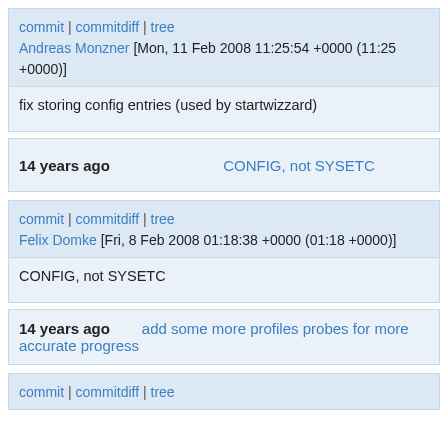commit | commitdiff | tree
Andreas Monzner [Mon, 11 Feb 2008 11:25:54 +0000 (11:25 +0000)]
fix storing config entries (used by startwizzard)
14 years ago    CONFIG, not SYSETC
commit | commitdiff | tree
Felix Domke [Fri, 8 Feb 2008 01:18:38 +0000 (01:18 +0000)]
CONFIG, not SYSETC
14 years ago    add some more profiles probes for more accurate progress
commit | commitdiff | tree